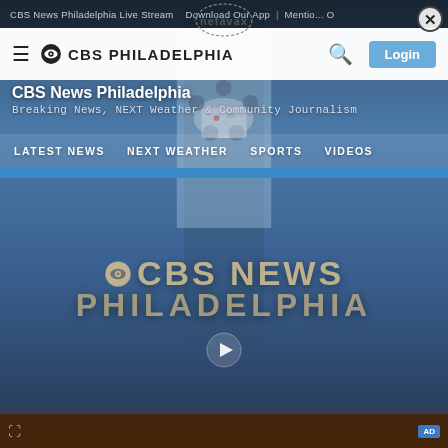CBS News Philadelphia Live Stream  Download Our App  Mention O
[Figure (screenshot): CBS Philadelphia website screenshot with navigation header, CBS NEWS PHILADELPHIA logo overlay and video player]
CBS News Philadelphia
Breaking News, NEXT Weather & Community Journalism
LATEST NEWS  NEXT WEATHER  SPORTS  VIDEOS
[Figure (logo): CBS NEWS PHILADELPHIA large watermark logo with play button]